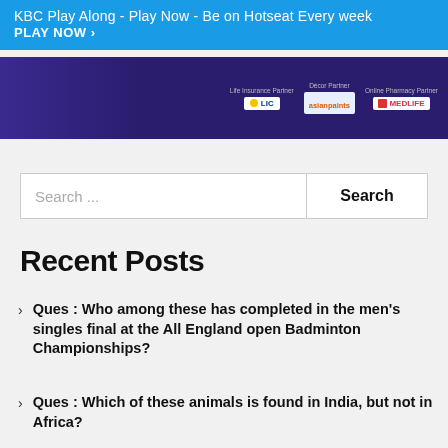KBC Play Along - Play Now - Be on Hotseat Every week PLAY NOW >
[Figure (screenshot): KBC show promotional image with sponsor logos: LIC (Life Insurance Partner), Asian Paints (Decor Partner), Medlife (Online Pharmacy Partner)]
Search ...
Ques : Who among these has completed in the men's singles final at the All England open Badminton Championships?
Ques : Which of these animals is found in India, but not in Africa?